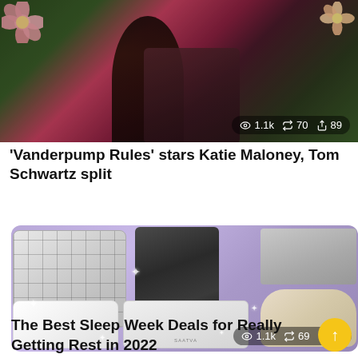[Figure (photo): Photo of two people (Vanderpump Rules stars) against a green floral backdrop with pink flowers in corners. Stats overlay: 1.1k views, 70 reposts, 89 shares.]
'Vanderpump Rules' stars Katie Maloney, Tom Schwartz split
[Figure (photo): Collage of sleep products on purple background: grey grid bedding set, dark waffle robe, grey striped sheets, beige slippers, white mattress, white duvet. Sparkle star decorations. Stats overlay: 1.1k views, 69 reposts, 88 shares.]
The Best Sleep Week Deals for Really Getting Rest in 2022